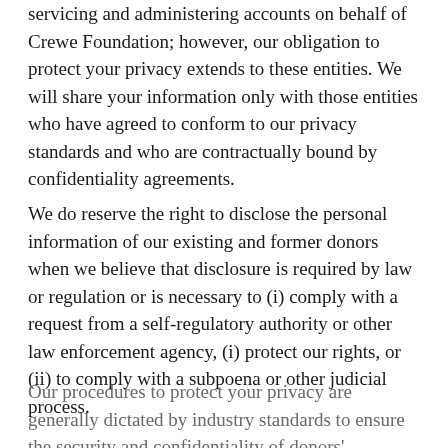servicing and administering accounts on behalf of Crewe Foundation; however, our obligation to protect your privacy extends to these entities. We will share your information only with those entities who have agreed to conform to our privacy standards and who are contractually bound by confidentiality agreements.
We do reserve the right to disclose the personal information of our existing and former donors when we believe that disclosure is required by law or regulation or is necessary to (i) comply with a request from a self-regulatory authority or other law enforcement agency, (i) protect our rights, or (ii) to comply with a subpoena or other judicial process.
This website stores data such as cookies to enable essential site functionality, as well as marketing, personalization, and analytics. Privacy Policy
Accept
Deny
Our procedures to protect your privacy are generally dictated by industry standards to ensure the security and confidentiality of donors' information, to protect against any anticipated threats or hazards to the